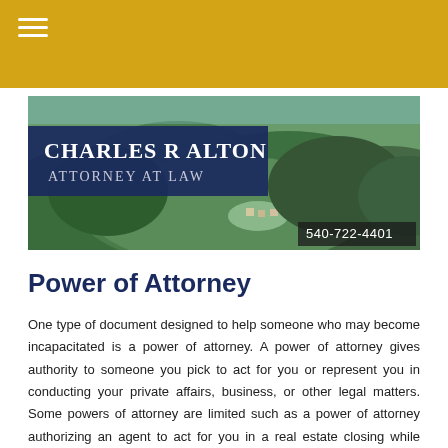≡ (navigation menu icon)
[Figure (photo): Aerial landscape photo of forested hills with houses visible, overlaid with a dark blue banner reading 'Charles R Alton Attorney at Law' and a phone number '540-722-4401' in the lower right corner.]
Power of Attorney
One type of document designed to help someone who may become incapacitated is a power of attorney. A power of attorney gives authority to someone you pick to act for you or represent you in conducting your private affairs, business, or other legal matters. Some powers of attorney are limited such as a power of attorney authorizing an agent to act for you in a real estate closing while some are designed to address nearly all financial situations. The person giving the power is called the principal while the person designated to act on